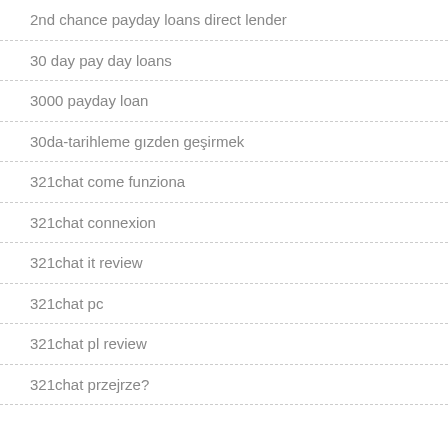2nd chance payday loans direct lender
30 day pay day loans
3000 payday loan
30da-tarihleme gözden geçirmek
321chat come funziona
321chat connexion
321chat it review
321chat pc
321chat pl review
321chat przejrze?